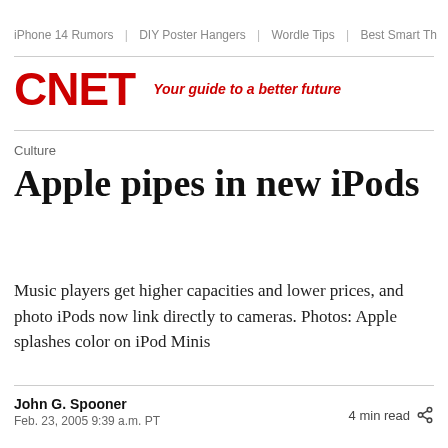iPhone 14 Rumors | DIY Poster Hangers | Wordle Tips | Best Smart Th
[Figure (logo): CNET logo in red bold letters with tagline 'Your guide to a better future' in red italic]
Culture
Apple pipes in new iPods
Music players get higher capacities and lower prices, and photo iPods now link directly to cameras. Photos: Apple splashes color on iPod Minis
John G. Spooner
Feb. 23, 2005 9:39 a.m. PT
4 min read